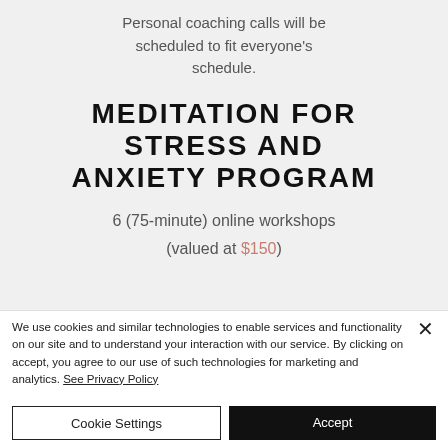Personal coaching calls will be scheduled to fit everyone's schedule.
MEDITATION FOR STRESS AND ANXIETY PROGRAM
6 (75-minute) online workshops
(valued at $150)
We use cookies and similar technologies to enable services and functionality on our site and to understand your interaction with our service. By clicking on accept, you agree to our use of such technologies for marketing and analytics. See Privacy Policy
Cookie Settings
Accept